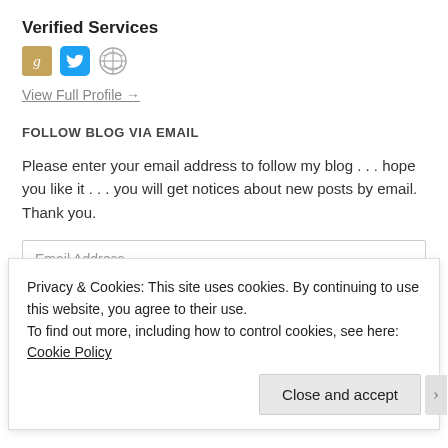Verified Services
[Figure (other): Three service icons: Goodreads (G), Twitter bird, WordPress globe]
View Full Profile →
FOLLOW BLOG VIA EMAIL
Please enter your email address to follow my blog . . . hope you like it . . . you will get notices about new posts by email. Thank you.
Email Address
Privacy & Cookies: This site uses cookies. By continuing to use this website, you agree to their use.
To find out more, including how to control cookies, see here: Cookie Policy
Close and accept